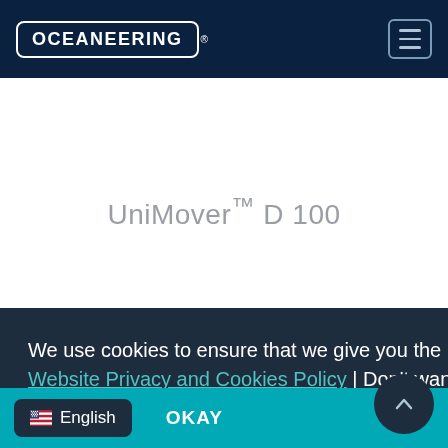OCEANEERING®
UniMover™ D 100
We use cookies to ensure that we give you the best experience on our website. Learn more: Website Privacy and Cookies Policy | Don't want cookies?  Click Here
OKAY
🇺🇸 English